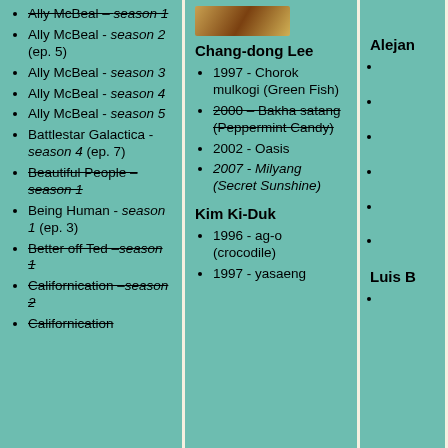Ally McBeal - season 1 (strikethrough)
Ally McBeal - season 2 (ep. 5)
Ally McBeal - season 3
Ally McBeal - season 4
Ally McBeal - season 5
Battlestar Galactica - season 4 (ep. 7)
Beautiful People - season 1 (strikethrough)
Being Human - season 1 (ep. 3)
Better off Ted - season 1 (strikethrough)
Californication - season 2 (strikethrough)
[Figure (photo): Cropped photo at top of middle column]
Chang-dong Lee
1997 - Chorok mulkogi (Green Fish)
2000 - Bakha satang (Peppermint Candy) (strikethrough)
2002 - Oasis
2007 - Milyang (Secret Sunshine)
Kim Ki-Duk
1996 - ag-o (crocodile)
1997 - yasaeng
Alejan
(bullet points cut off)
Luis B
(bullet point cut off)